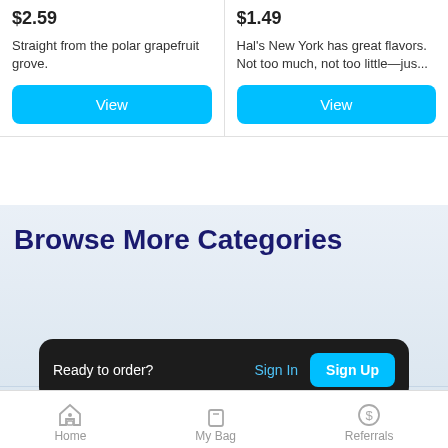$2.59
Straight from the polar grapefruit grove.
View
$1.49
Hal's New York has great flavors. Not too much, not too little—jus...
View
Browse More Categories
Ready to order?
Sign In
Sign Up
Jelly Beans
Can Beer
Home
My Bag
Referrals